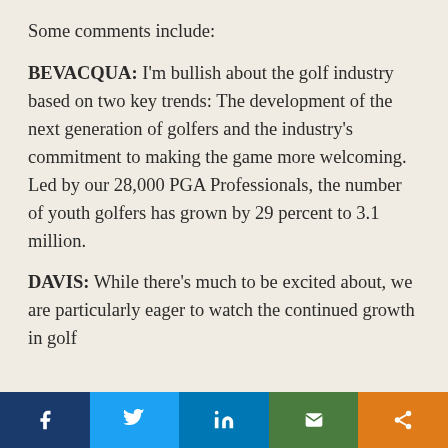Some comments include:
BEVACQUA: I'm bullish about the golf industry based on two key trends: The development of the next generation of golfers and the industry's commitment to making the game more welcoming. Led by our 28,000 PGA Professionals, the number of youth golfers has grown by 29 percent to 3.1 million.
DAVIS: While there's much to be excited about, we are particularly eager to watch the continued growth in golf
Social share bar: Facebook, Twitter, LinkedIn, Email, Share